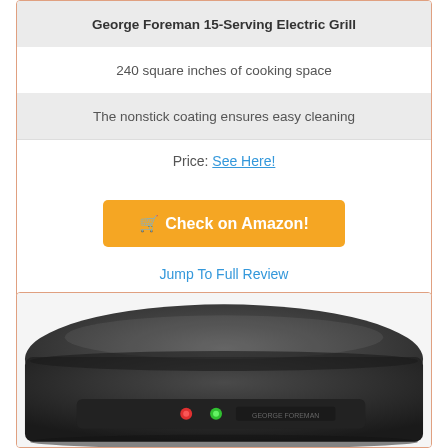George Foreman 15-Serving Electric Grill
240 square inches of cooking space
The nonstick coating ensures easy cleaning
Price: See Here!
Check on Amazon!
Jump To Full Review
[Figure (photo): George Foreman electric grill product photo, dark gray grill unit viewed from slight angle, showing indicator lights on front]